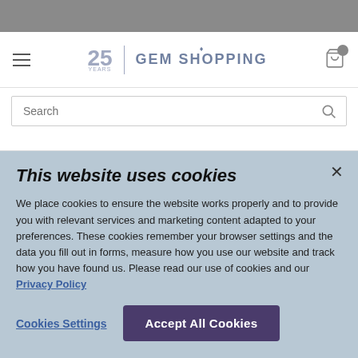[Figure (screenshot): Gray top bar of a website]
25 YEARS | GEM SHOPPING
Search
This website uses cookies
We place cookies to ensure the website works properly and to provide you with relevant services and marketing content adapted to your preferences. These cookies remember your browser settings and the data you fill out in forms, measure how you use our website and track how you have found us. Please read our use of cookies and our Privacy Policy
Cookies Settings
Accept All Cookies